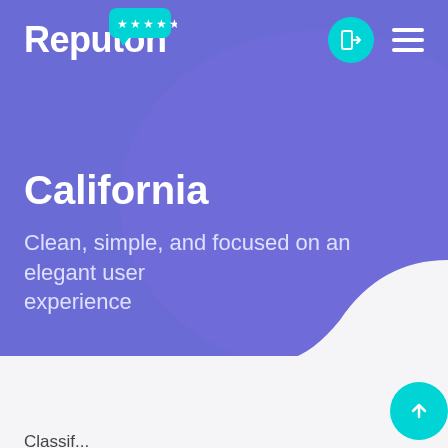[Figure (screenshot): Reputon website header with purple gradient background, logo with chat bubble icon, navigation icons including login button and hamburger menu]
California
Clean, simple, and focused on an elegant user experience
Home > Themes > California
Classif...